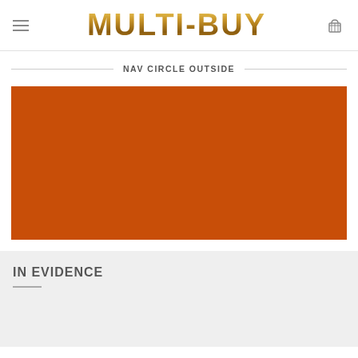MULTI-BUY
NAV CIRCLE OUTSIDE
[Figure (other): Large solid orange/burnt-orange rectangular image placeholder block]
IN EVIDENCE